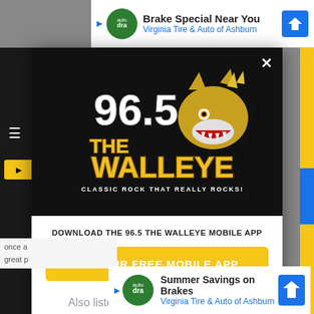[Figure (screenshot): Top advertisement banner: Brake Special Near You, Virginia Tire & Auto of Ashburn]
[Figure (logo): 96.5 The Walleye radio station logo with wolf mascot. Text: THE WALLEYE, 96.5, CLASSIC ROCK THAT REALLY ROCKS!]
DOWNLOAD THE 96.5 THE WALLEYE MOBILE APP
GET OUR FREE MOBILE APP
Also listen on:  amazon alexa
[Figure (screenshot): Bottom advertisement banner: Summer Savings on Brakes, Virginia Tire & Auto of Ashburn]